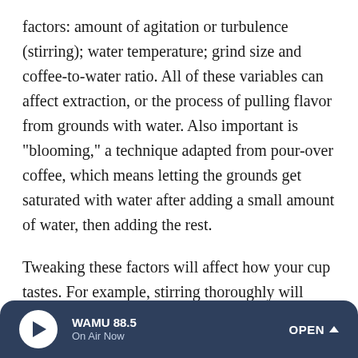factors: amount of agitation or turbulence (stirring); water temperature; grind size and coffee-to-water ratio. All of these variables can affect extraction, or the process of pulling flavor from grounds with water. Also important is "blooming," a technique adapted from pour-over coffee, which means letting the grounds get saturated with water after adding a small amount of water, then adding the rest.
Tweaking these factors will affect how your cup tastes. For example, stirring thoroughly will increase the effectiveness of the extraction, where underextraction can be acidic. A slow, steady press also reduces acidity. Choose to bloom and you'll saturate the grounds evenly to get a sweeter-tasting result. Using water at higher temperatures produces a more
WAMU 88.5 | On Air Now | OPEN